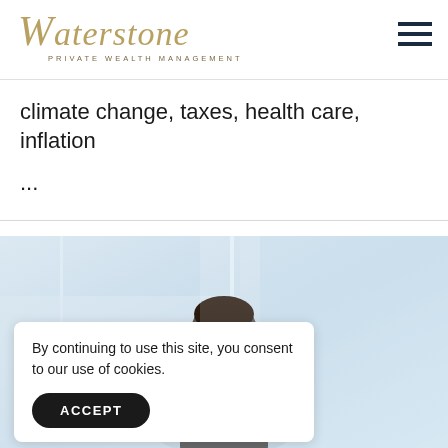[Figure (logo): Waterstone Private Wealth Management logo with gold italic script and small-caps subtitle]
climate change, taxes, health care, inflation
...
[Figure (photo): Woman looking down at laptop or desk in bright office environment]
By continuing to use this site, you consent to our use of cookies.
ACCEPT